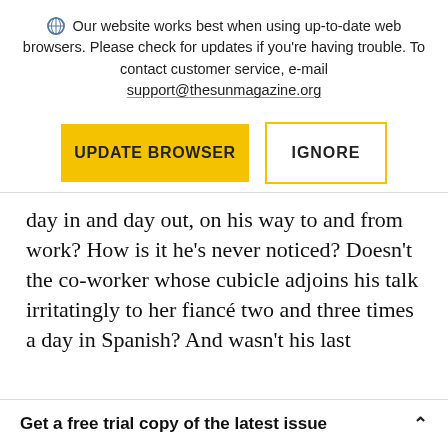Our website works best when using up-to-date web browsers. Please check for updates if you're having trouble. To contact customer service, e-mail support@thesunmagazine.org
[Figure (other): Two buttons: a yellow filled button labeled UPDATE BROWSER and a yellow-outlined button labeled IGNORE]
day in and day out, on his way to and from work? How is it he’s never noticed? Doesn’t the co-worker whose cubicle adjoins his talk irritatingly to her fiancé two and three times a day in Spanish? And wasn’t his last
Get a free trial copy of the latest issue